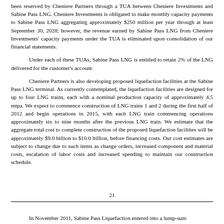been reserved by Cheniere Partners through a TUA between Cheniere Investments and Sabine Pass LNG. Cheniere Investments is obligated to make monthly capacity payments to Sabine Pass LNG aggregating approximately $250 million per year through at least September 30, 2028; however, the revenue earned by Sabine Pass LNG from Cheniere Investments' capacity payments under the TUA is eliminated upon consolidation of our financial statements.
Under each of these TUAs, Sabine Pass LNG is entitled to retain 2% of the LNG delivered for the customer's account.
Cheniere Partners is also developing proposed liquefaction facilities at the Sabine Pass LNG terminal. As currently contemplated, the liquefaction facilities are designed for up to four LNG trains, each with a nominal production capacity of approximately 4.5 mtpa. We expect to commence construction of LNG trains 1 and 2 during the first half of 2012 and begin operations in 2015, with each LNG train commencing operations approximately six to nine months after the previous LNG train. We estimate that the aggregate total cost to complete construction of the proposed liquefaction facilities will be approximately $9.0 billion to $10.0 billion, before financing costs. Our cost estimates are subject to change due to such items as change orders, increased component and material costs, escalation of labor costs and increased spending to maintain our construction schedule.
21
In November 2011, Sabine Pass Liquefaction entered into a lump-sum